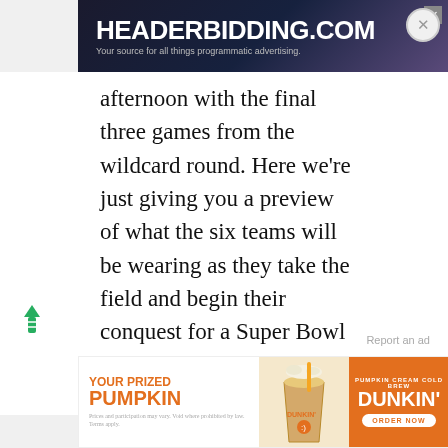[Figure (screenshot): Header bidding ad banner at top: blue/purple gradient background with HEADERBIDDING.COM in white bold text, subtitle 'Your source for all things programmatic advertising.']
afternoon with the final three games from the wildcard round. Here we're just giving you a preview of what the six teams will be wearing as they take the field and begin their conquest for a Super Bowl LV championship next month in Tampa
ADVERTISEMENT
[Figure (screenshot): Dunkin' ad: 'YOUR PRIZED PUMPKIN' in orange text on left, pumpkin cream cold brew drink in center, 'DUNKIN' ORDER NOW' button on orange background on right]